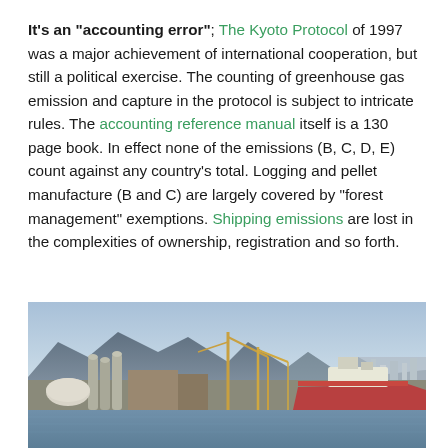It's an "accounting error"; The Kyoto Protocol of 1997 was a major achievement of international cooperation, but still a political exercise. The counting of greenhouse gas emission and capture in the protocol is subject to intricate rules. The accounting reference manual itself is a 130 page book. In effect none of the emissions (B, C, D, E) count against any country's total. Logging and pellet manufacture (B and C) are largely covered by "forest management" exemptions. Shipping emissions are lost in the complexities of ownership, registration and so forth.
[Figure (photo): Aerial or elevated photo of a shipping port with cranes, silos, cargo ships, water in the foreground, mountains in the background, and a city/urban area on the right.]